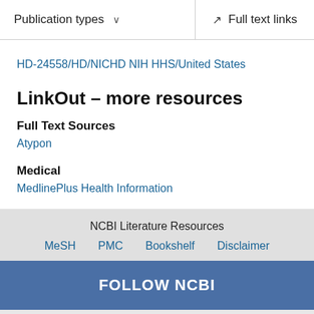Publication types  ∨    Full text links
HD-24558/HD/NICHD NIH HHS/United States
LinkOut – more resources
Full Text Sources
Atypon
Medical
MedlinePlus Health Information
NCBI Literature Resources
MeSH  PMC  Bookshelf  Disclaimer
FOLLOW NCBI